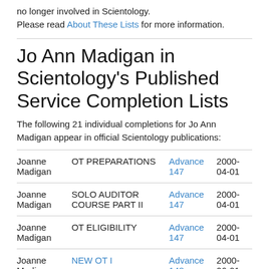no longer involved in Scientology.
Please read About These Lists for more information.
Jo Ann Madigan in Scientology's Published Service Completion Lists
The following 21 individual completions for Jo Ann Madigan appear in official Scientology publications:
| Name | Course/Service | Publication | Date |
| --- | --- | --- | --- |
| Joanne Madigan | OT PREPARATIONS | Advance 147 | 2000-04-01 |
| Joanne Madigan | SOLO AUDITOR COURSE PART II | Advance 147 | 2000-04-01 |
| Joanne Madigan | OT ELIGIBILITY | Advance 147 | 2000-04-01 |
| Joanne Madigan | NEW OT I | Advance 148 | 2000-06-01 |